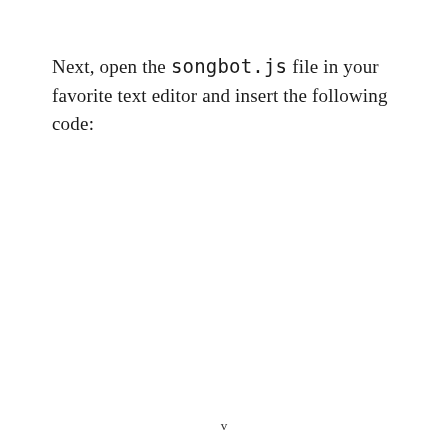Next, open the songbot.js file in your favorite text editor and insert the following code:
v